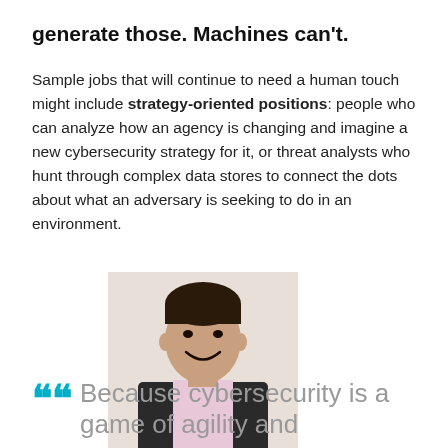generate those. Machines can't.
Sample jobs that will continue to need a human touch might include strategy-oriented positions: people who can analyze how an agency is changing and imagine a new cybersecurity strategy for it, or threat analysts who hunt through complex data stores to connect the dots about what an adversary is seeking to do in an environment.
[Figure (photo): Headshot of a man in a dark blazer and light pink shirt, smiling, with dark hair]
Because cybersecurity is a game of agility and